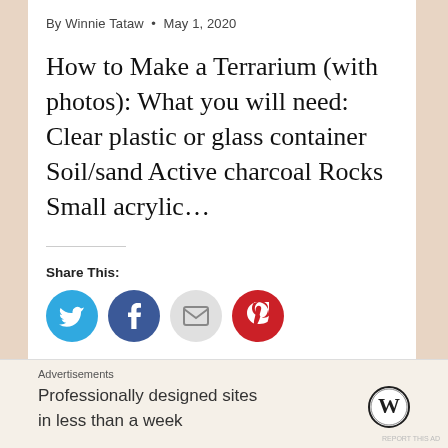By Winnie Tataw • May 1, 2020
How to Make a Terrarium (with photos): What you will need: Clear plastic or glass container Soil/sand Active charcoal Rocks Small acrylic...
Share This:
[Figure (other): Social share icons: Twitter (blue circle), Facebook (blue circle), Email (grey circle), Pinterest (red circle)]
Like This:
Loading...
Advertisements
Professionally designed sites in less than a week